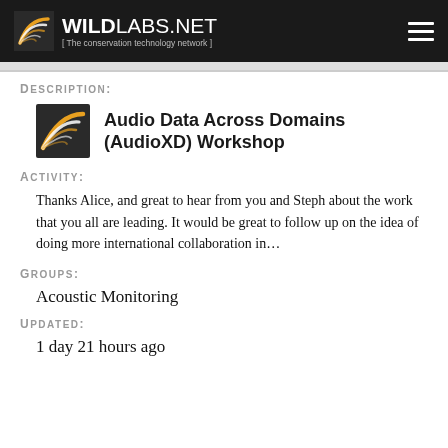WILDLABS.NET [ The conservation technology network ]
Description:
[Figure (logo): WildLabs.net logo — stylized leaf/wave icon in orange and black with text 'Audio Data Across Domains (AudioXD) Workshop']
Activity:
Thanks Alice, and great to hear from you and Steph about the work that you all are leading. It would be great to follow up on the idea of doing more international collaboration in…
Groups:
Acoustic Monitoring
Updated:
1 day 21 hours ago